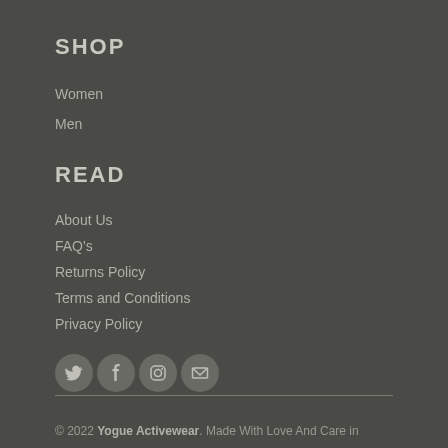SHOP
Women
Men
READ
About Us
FAQ's
Returns Policy
Terms and Conditions
Privacy Policy
[Figure (other): Social media icons: Twitter, Facebook, Instagram, Email]
© 2022 Yogue Activewear. Made With Love And Care in